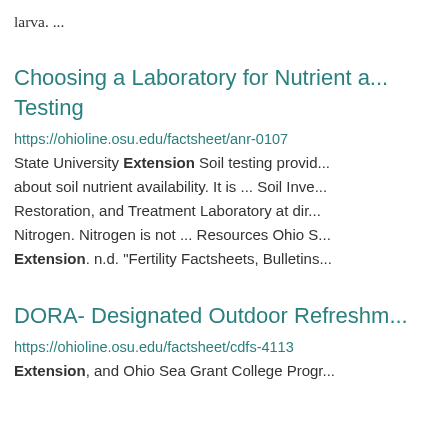larva. ...
Choosing a Laboratory for Nutrient a... Testing
https://ohioline.osu.edu/factsheet/anr-0107
State University Extension Soil testing provid... about soil nutrient availability. It is ... Soil Inve... Restoration, and Treatment Laboratory at dir... Nitrogen. Nitrogen is not ... Resources Ohio S... Extension. n.d. "Fertility Factsheets, Bulletins...
DORA- Designated Outdoor Refreshm...
https://ohioline.osu.edu/factsheet/cdfs-4113
Extension, and Ohio Sea Grant College Progr...